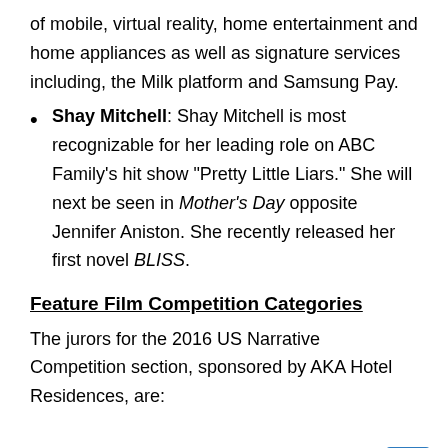of mobile, virtual reality, home entertainment and home appliances as well as signature services including, the Milk platform and Samsung Pay.
Shay Mitchell: Shay Mitchell is most recognizable for her leading role on ABC Family’s hit show “Pretty Little Liars.” She will next be seen in Mother’s Day opposite Jennifer Aniston. She recently released her first novel BLISS.
Feature Film Competition Categories
The jurors for the 2016 US Narrative Competition section, sponsored by AKA Hotel Residences, are:
Anne Carey: Anne Carey is an Independent Spirit